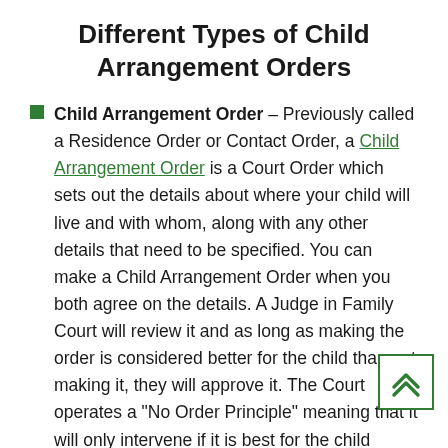Different Types of Child Arrangement Orders
Child Arrangement Order – Previously called a Residence Order or Contact Order, a Child Arrangement Order is a Court Order which sets out the details about where your child will live and with whom, along with any other details that need to be specified. You can make a Child Arrangement Order when you both agree on the details. A Judge in Family Court will review it and as long as making the order is considered better for the child than not making it, they will approve it. The Court operates a "No Order Principle" meaning that it will only intervene if it is best for the child involved. Having a Child Arrangement Order in place means that you both know what's